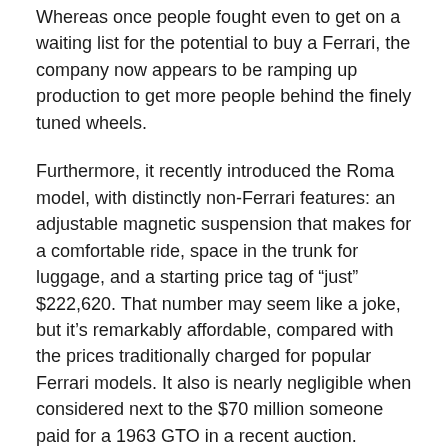Whereas once people fought even to get on a waiting list for the potential to buy a Ferrari, the company now appears to be ramping up production to get more people behind the finely tuned wheels.
Furthermore, it recently introduced the Roma model, with distinctly non-Ferrari features: an adjustable magnetic suspension that makes for a comfortable ride, space in the trunk for luggage, and a starting price tag of “just” $222,620. That number may seem like a joke, but it’s remarkably affordable, compared with the prices traditionally charged for popular Ferrari models. It also is nearly negligible when considered next to the $70 million someone paid for a 1963 GTO in a recent auction.
Furthermore, Ferrari has shown its awareness of automotive trends by introducing a plug-in hybrid model